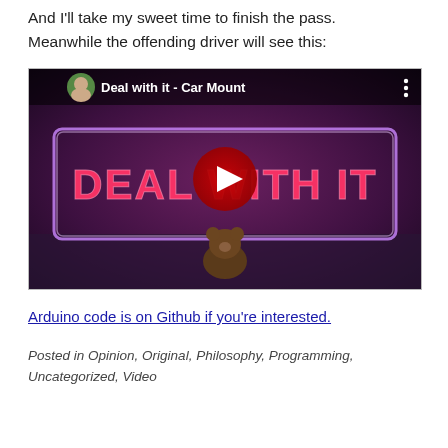And I'll take my sweet time to finish the pass. Meanwhile the offending driver will see this:
[Figure (screenshot): YouTube video embed thumbnail showing a neon sign reading 'DEAL WITH IT' with a teddy bear in front, and a YouTube play button overlay. Video title: 'Deal with it - Car Mount']
Arduino code is on Github if you're interested.
Posted in Opinion, Original, Philosophy, Programming, Uncategorized, Video